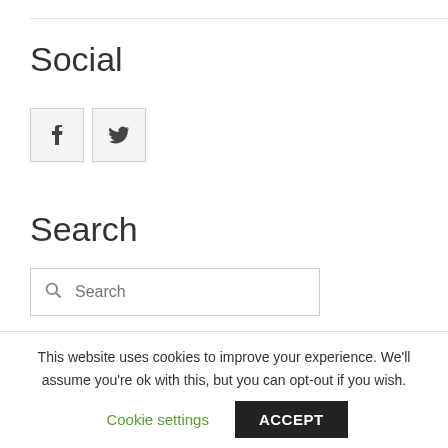Social
[Figure (illustration): Facebook and Twitter social media icon buttons in light grey square boxes]
Search
[Figure (screenshot): Search input box with magnifying glass icon and placeholder text 'Search']
Recent Help Guides
This website uses cookies to improve your experience. We'll assume you're ok with this, but you can opt-out if you wish.
Cookie settings  ACCEPT